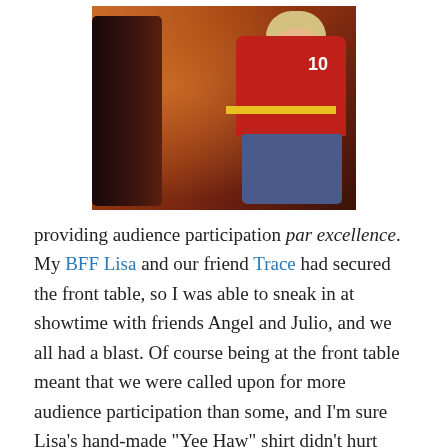[Figure (photo): A woman wearing a red jersey with number 10 and a yellow medal/lanyard, sitting and smiling, in a dark indoor setting with warm orange lighting. Another person partially visible to her left.]
providing audience participation par excellence. My BFF Lisa and our friend Trace had secured the front table, so I was able to sneak in at showtime with friends Angel and Julio, and we all had a blast. Of course being at the front table meant that we were called upon for more audience participation than some, and I'm sure Lisa's hand-made "Yee Haw" shirt didn't hurt matters either!  Bob Jackson's a